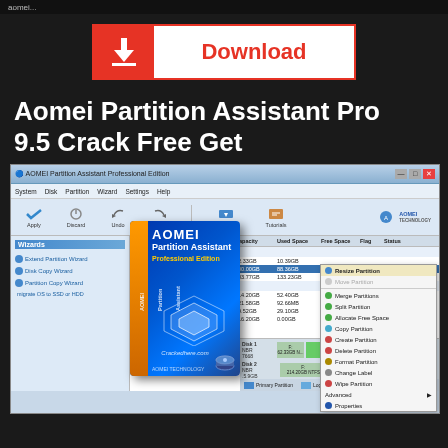[Figure (screenshot): Download button with red border, red icon box with download arrow icon, and red 'Download' text]
Aomei Partition Assistant Pro 9.5 Crack Free Get
[Figure (screenshot): AOMEI Partition Assistant Professional Edition software interface showing disk partitions, context menu with options like Resize Partition, Move Partition, Merge Partitions, Split Partition, Allocate Free Space, Copy Partition, Create Partition, Delete Partition, Format Partition, Change Label, Wipe Partition, Advanced, Properties. Also shows a product box image with text 'AOMEI Partition Assistant Professional Edition' and 'Crackedhere.com' watermark. Bottom shows disk visualization bars.]